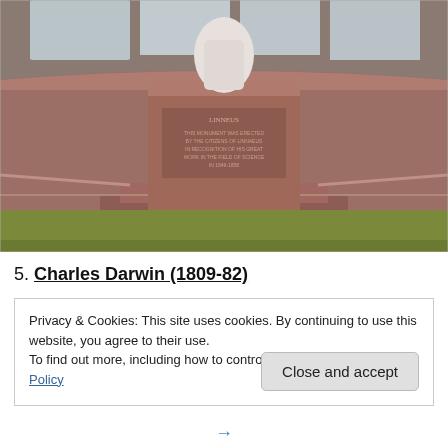[Figure (photo): Photograph of a statue on a granite pedestal with inscription 'LINNEUS', surrounded by curved granite walls and green grass]
5. Charles Darwin (1809-82)
Privacy & Cookies: This site uses cookies. By continuing to use this website, you agree to their use.
To find out more, including how to control cookies, see here: Cookie Policy